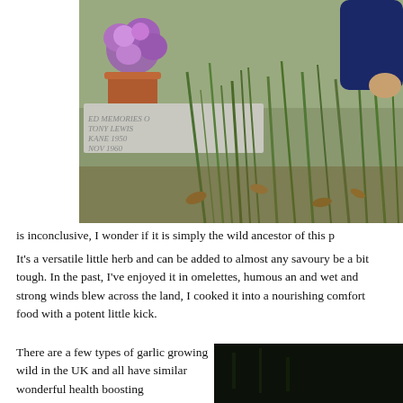[Figure (photo): Outdoor cemetery scene with purple/pink roses in a terracotta pot placed on a grave stone, surrounded by tall green grass blades and fallen leaves. The grave inscription is partially visible reading 'ED MEMORIES O / TONY LEWIS / KANE 1930 / NOV 1960'. A person's hand and dark sleeve visible at top right.]
is inconclusive, I wonder if it is simply the wild ancestor of this p
It's a versatile little herb and can be added to almost any savoury be a bit tough. In the past, I've enjoyed it in omelettes, humous an and wet and strong winds blew across the land, I cooked it into a nourishing comfort food with a potent little kick.
There are a few types of garlic growing wild in the UK and all have similar wonderful health boosting
[Figure (photo): Dark, mostly black photo, likely of a plant or outdoor scene at night or in very low light.]